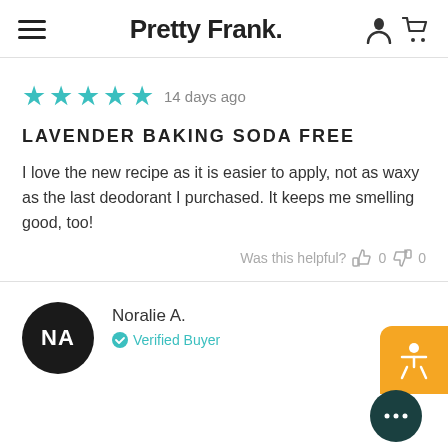Pretty Frank.
14 days ago
LAVENDER BAKING SODA FREE
I love the new recipe as it is easier to apply, not as waxy as the last deodorant I purchased. It keeps me smelling good, too!
Was this helpful? 0 0
Noralie A. Verified Buyer